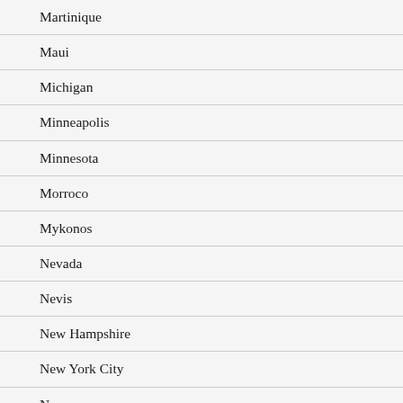Martinique
Maui
Michigan
Minneapolis
Minnesota
Morroco
Mykonos
Nevada
Nevis
New Hampshire
New York City
Norway
Palm Harbor